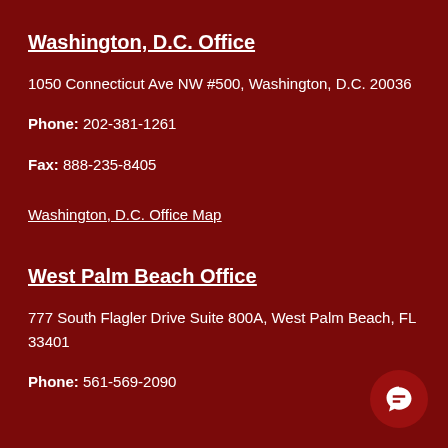Washington, D.C. Office
1050 Connecticut Ave NW #500, Washington, D.C. 20036
Phone: 202-381-1261
Fax: 888-235-8405
Washington, D.C. Office Map
West Palm Beach Office
777 South Flagler Drive Suite 800A, West Palm Beach, FL 33401
Phone: 561-569-2090